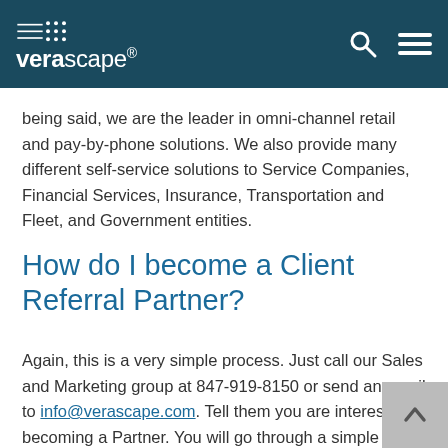verascape
being said, we are the leader in omni-channel retail and pay-by-phone solutions. We also provide many different self-service solutions to Service Companies, Financial Services, Insurance, Transportation and Fleet, and Government entities.
How do I become a Client Referral Partner?
Again, this is a very simple process. Just call our Sales and Marketing group at 847-919-8150 or send an email to info@verascape.com. Tell them you are interested in becoming a Partner. You will go through a simple interview process to